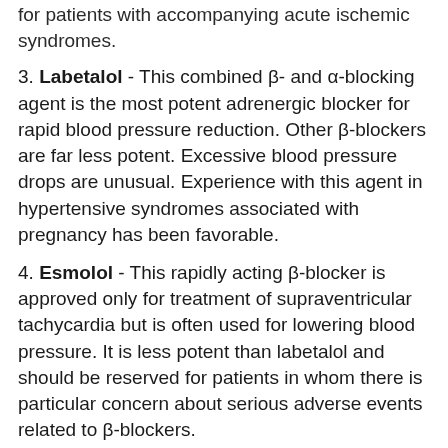for patients with accompanying acute ischemic syndromes.
3. Labetalol - This combined β- and α-blocking agent is the most potent adrenergic blocker for rapid blood pressure reduction. Other β-blockers are far less potent. Excessive blood pressure drops are unusual. Experience with this agent in hypertensive syndromes associated with pregnancy has been favorable.
4. Esmolol - This rapidly acting β-blocker is approved only for treatment of supraventricular tachycardia but is often used for lowering blood pressure. It is less potent than labetalol and should be reserved for patients in whom there is particular concern about serious adverse events related to β-blockers.
5. Nicardipine - Intravenous nicardipine is the most potent antihypertensive agent and the longest acting of the parenteral calcium channel blockers. As a primarily arterial vasodilator, it has the potential to precipitate reflex